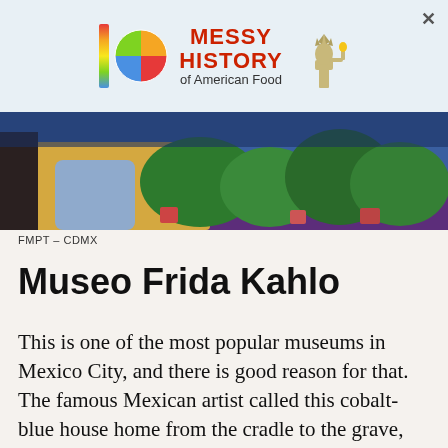[Figure (screenshot): Advertisement banner for 'Messy History of American Food' with colorful logo and Statue of Liberty image on light blue background]
[Figure (photo): Exterior photo of Museo Frida Kahlo showing cobalt-blue courtyard with plants, trees, and purple wall]
FMPT – CDMX
Museo Frida Kahlo
This is one of the most popular museums in Mexico City, and there is good reason for that. The famous Mexican artist called this cobalt-blue house home from the cradle to the grave, living and working here alongside her on-again, off-again husband Diego Rivera for decades. Located in the Coyoacán neighborhood, Museo Frida Kahlo still looks much as it did in the 1950s, with works by Kahlo and Rivera themselves sharing space with classics by